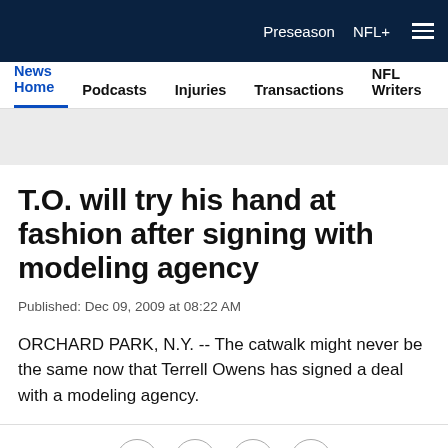Preseason  NFL+
News Home  Podcasts  Injuries  Transactions  NFL Writers  Se
T.O. will try his hand at fashion after signing with modeling agency
Published: Dec 09, 2009 at 08:22 AM
ORCHARD PARK, N.Y. -- The catwalk might never be the same now that Terrell Owens has signed a deal with a modeling agency.